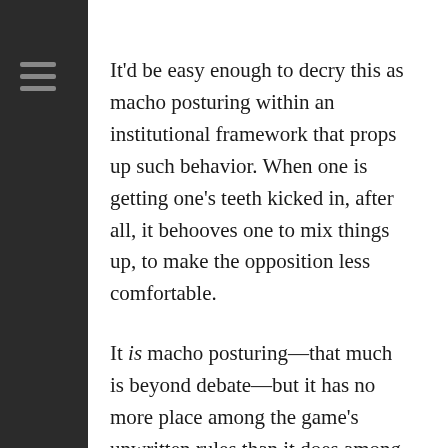It'd be easy enough to decry this as macho posturing within an institutional framework that props up such behavior. When one is getting one's teeth kicked in, after all, it behooves one to mix things up, to make the opposition less comfortable.
It is macho posturing—that much is beyond debate—but it has no more place among the game's unwritten rules than it does among the written ones. It goes against nearly every facet of the Code: A pitch above the shoulders; retaliation for teammates' success; loose-cannon ethics that possess no space for the wellbeing of the opposition. The underlying tenet of the unwritten rules is the exhibition of respect, and this act decries it almost entirely, as it